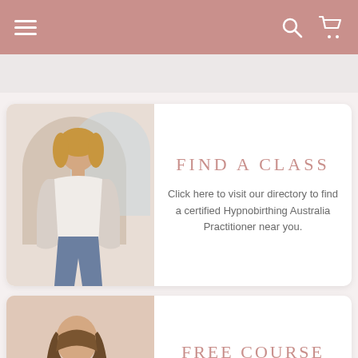Navigation bar with hamburger menu, search icon, and cart icon
[Figure (photo): Woman with blonde hair smiling, wearing white top and jeans, standing in front of an arch-shaped background in beige and light blue tones]
FIND A CLASS
Click here to visit our directory to find a certified Hypnobirthing Australia Practitioner near you.
[Figure (photo): Woman with long brown hair, seen from behind/side, wearing white top, circular crop background in warm tan tones]
FREE COURSE PREVIEW
Take a sneak peek inside our...